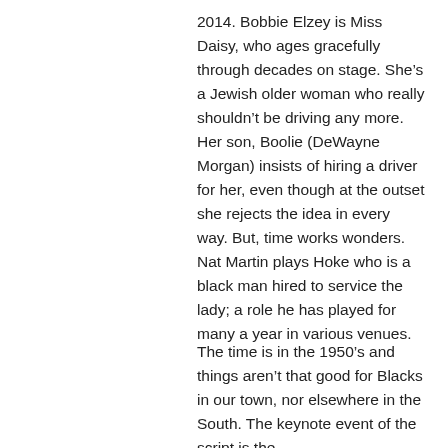2014. Bobbie Elzey is Miss Daisy, who ages gracefully through decades on stage. She's a Jewish older woman who really shouldn't be driving any more. Her son, Boolie (DeWayne Morgan) insists of hiring a driver for her, even though at the outset she rejects the idea in every way. But, time works wonders. Nat Martin plays Hoke who is a black man hired to service the lady; a role he has played for many a year in various venues.
The time is in the 1950's and things aren't that good for Blacks in our town, nor elsewhere in the South. The keynote event of the script is the